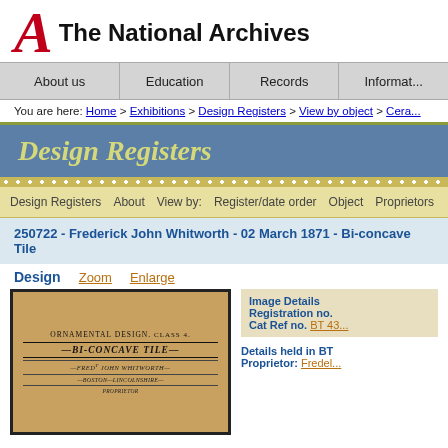[Figure (logo): The National Archives logo with red stylized letter A and bold black text]
About us | Education | Records | Informat...
You are here: Home > Exhibitions > Design Registers > View by object > Cera...
Design Registers
Design Registers  About  View by:  Register/date order  Object  Proprietors
250722 - Frederick John Whitworth - 02 March 1871 - Bi-concave Tile
Design   Zoom   Enlarge
[Figure (photo): Scanned historical document showing ORNAMENTAL DESIGN CLASS 4, BI-CONCAVE TILE, FRED'T JOHN WHITWORTH, BOSTON—LINCOLNSHIRE, PROPRIETOR]
Image Details
Registration no.
Cat Ref no. BT 43...
Details held in BT
Proprietor: Fredel...